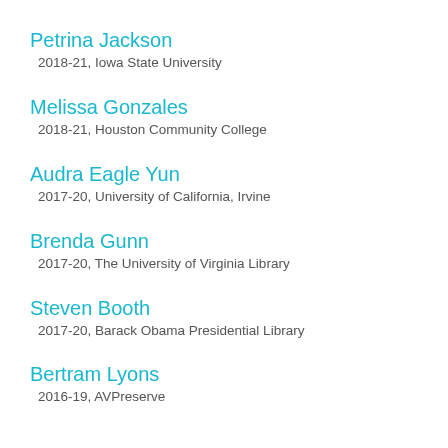Petrina Jackson
2018-21, Iowa State University
Melissa Gonzales
2018-21, Houston Community College
Audra Eagle Yun
2017-20, University of California, Irvine
Brenda Gunn
2017-20, The University of Virginia Library
Steven Booth
2017-20, Barack Obama Presidential Library
Bertram Lyons
2016-19, AVPreserve